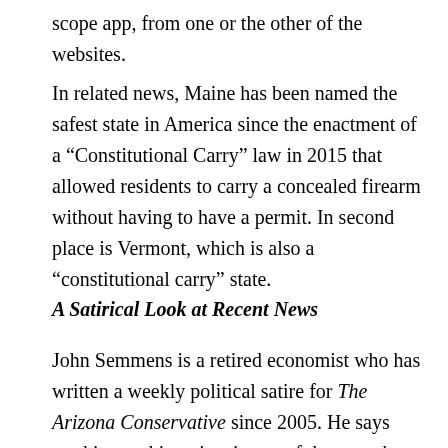scope app, from one or the other of the websites.
In related news, Maine has been named the safest state in America since the enactment of a “Constitutional Carry” law in 2015 that allowed residents to carry a concealed firearm without having to have a permit. In second place is Vermont, which is also a “constitutional carry” state.
A Satirical Look at Recent News
John Semmens is a retired economist who has written a weekly political satire for The Arizona Conservative since 2005. He says working on his satires is one of the ways he tries to honor the liberties our Founding